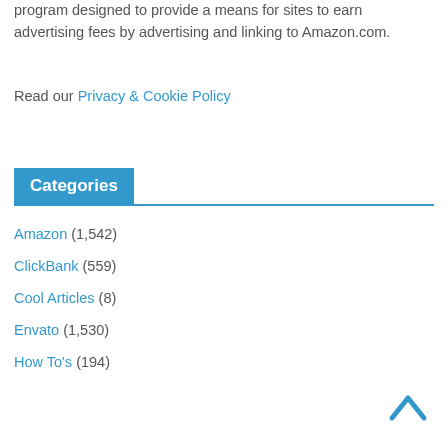program designed to provide a means for sites to earn advertising fees by advertising and linking to Amazon.com.
Read our Privacy & Cookie Policy
Categories
Amazon (1,542)
ClickBank (559)
Cool Articles (8)
Envato (1,530)
How To's (194)